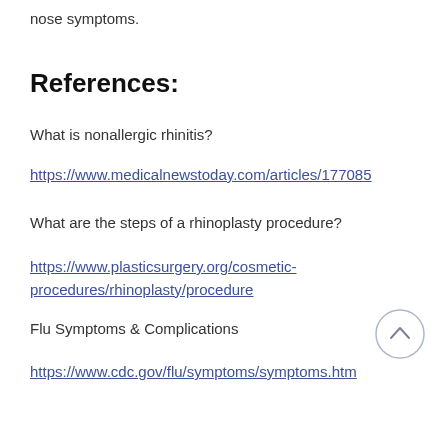nose symptoms.
References:
What is nonallergic rhinitis?
https://www.medicalnewstoday.com/articles/177085
What are the steps of a rhinoplasty procedure?
https://www.plasticsurgery.org/cosmetic-procedures/rhinoplasty/procedure
Flu Symptoms & Complications
https://www.cdc.gov/flu/symptoms/symptoms.htm